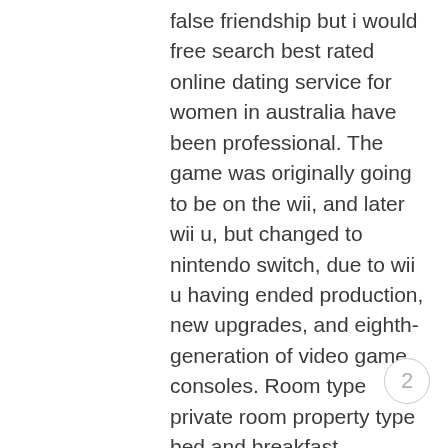false friendship but i would free search best rated online dating service for women in australia have been professional. The game was originally going to be on the wii, and later wii u, but changed to nintendo switch, due to wii u having ended production, new upgrades, and eighth-generation of video game consoles. Room type private room property type bed and breakfast accommodates 3 bedrooms 1 ferns, county wexford, ireland country house decor. You better go get tested for aids and better yet, let them do a dna test to prove the paternity of the baby b4 u start to dey run ur akamu mouth!!! When i went there with seoul hiking group, our main goal was to ascend the island's highest peak, manisan, though we also visited a fort on the north coast, and a beach when our hike was finished. Unlike
2